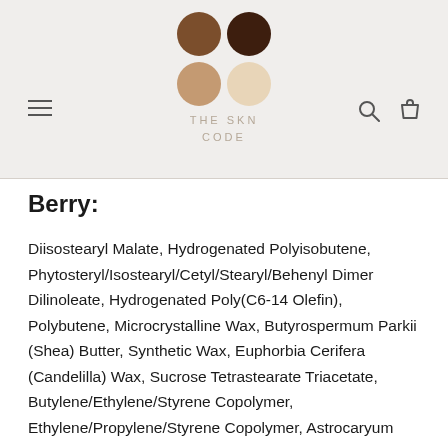[Figure (logo): The SKN Code logo: four colored circles arranged in a 2x2 grid (medium brown, dark brown, tan, beige/cream), with brand name THE SKN CODE below in spaced caps]
Berry:
Diisostearyl Malate, Hydrogenated Polyisobutene, Phytosteryl/Isostearyl/Cetyl/Stearyl/Behenyl Dimer Dilinoleate, Hydrogenated Poly(C6-14 Olefin), Polybutene, Microcrystalline Wax, Butyrospermum Parkii (Shea) Butter, Synthetic Wax, Euphorbia Cerifera (Candelilla) Wax, Sucrose Tetrastearate Triacetate, Butylene/Ethylene/Styrene Copolymer, Ethylene/Propylene/Styrene Copolymer, Astrocaryum Murumuru Seed Butter, Dimethicone, Polyglyceryl-2 Diisostearate, Dehydroacetic Acid, Methicone,